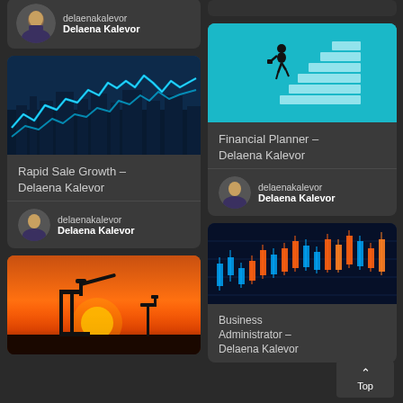[Figure (photo): Profile card with avatar photo of Delaena Kalevor at top of left column (partially cropped at top)]
delaenakalevor
Delaena Kalevor
[Figure (photo): Card with stock market line chart on city skyline background, glowing blue lines]
Rapid Sale Growth – Delaena Kalevor
delaenakalevor
Delaena Kalevor
[Figure (photo): Card with silhouette of oil pump jack at sunset with orange and red sky]
[Figure (photo): Card with staircase illustration - businessman climbing steps on teal background]
Financial Planner – Delaena Kalevor
delaenakalevor
Delaena Kalevor
[Figure (photo): Card with candlestick stock chart on dark blue background with glowing bars]
Business Administrator – Delaena Kalevor